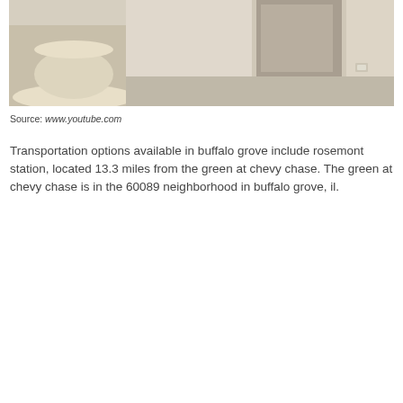[Figure (photo): Interior room photo showing beige/cream carpeted floor, a round stone or concrete table/pedestal on the left, white walls, and a doorway or hallway in the background.]
Source: www.youtube.com
Transportation options available in buffalo grove include rosemont station, located 13.3 miles from the green at chevy chase. The green at chevy chase is in the 60089 neighborhood in buffalo grove, il.